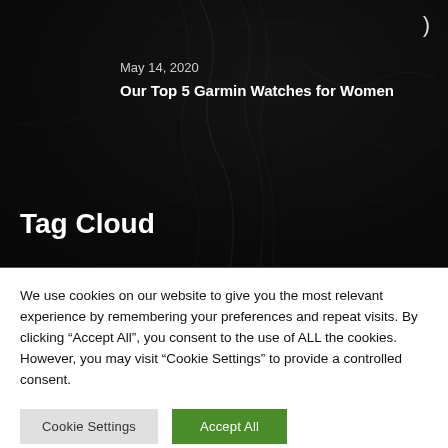[Figure (photo): Dark map/satellite background image with a moon/night-mode toggle icon in the top-right corner]
May 14, 2020
Our Top 5 Garmin Watches for Women
Tag Cloud
We use cookies on our website to give you the most relevant experience by remembering your preferences and repeat visits. By clicking “Accept All”, you consent to the use of ALL the cookies. However, you may visit “Cookie Settings” to provide a controlled consent.
Cookie Settings
Accept All